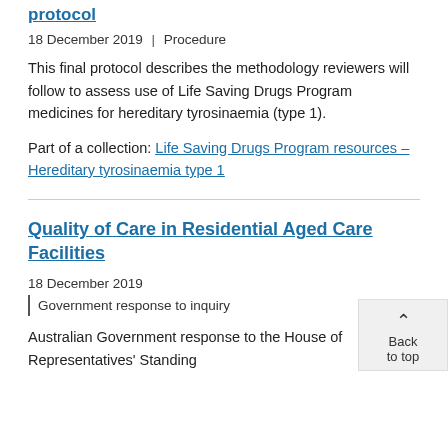protocol
18 December 2019 | Procedure
This final protocol describes the methodology reviewers will follow to assess use of Life Saving Drugs Program medicines for hereditary tyrosinaemia (type 1).
Part of a collection: Life Saving Drugs Program resources – Hereditary tyrosinaemia type 1
Quality of Care in Residential Aged Care Facilities
18 December 2019 | Government response to inquiry
Australian Government response to the House of Representatives' Standing